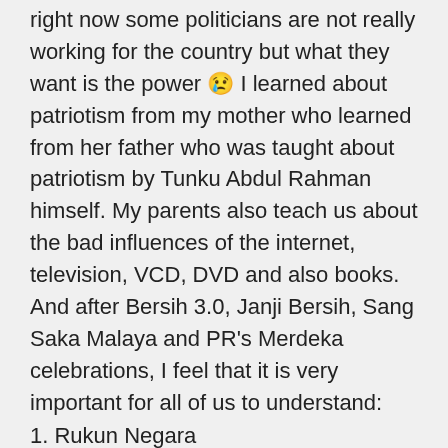right now some politicians are not really working for the country but what they want is the power 😢 I learned about patriotism from my mother who learned from her father who was taught about patriotism by Tunku Abdul Rahman himself. My parents also teach us about the bad influences of the internet, television, VCD, DVD and also books. And after Bersih 3.0, Janji Bersih, Sang Saka Malaya and PR's Merdeka celebrations, I feel that it is very important for all of us to understand:
1. Rukun Negara
2. Our Federal Constitution
3. History of Malaysia
4. Patriotism
5. To think wisely and do not be like lambu